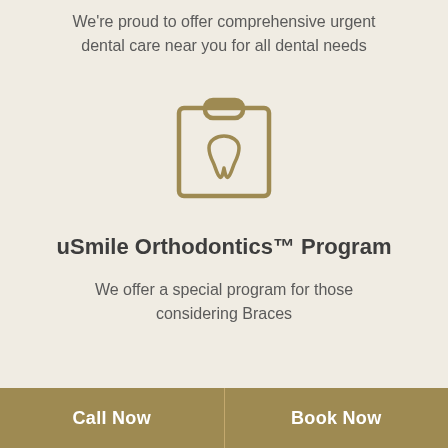We're proud to offer comprehensive urgent dental care near you for all dental needs
[Figure (illustration): Gold outline icon of a clipboard with a tooth symbol on it]
uSmile Orthodontics™ Program
We offer a special program for those considering Braces
Call Now | Book Now